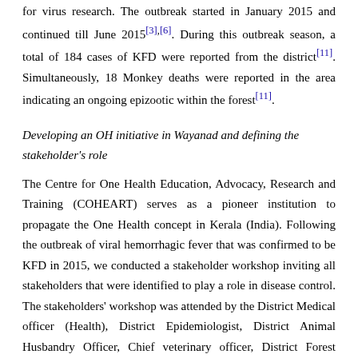for virus research. The outbreak started in January 2015 and continued till June 2015[3],[6]. During this outbreak season, a total of 184 cases of KFD were reported from the district[11]. Simultaneously, 18 Monkey deaths were reported in the area indicating an ongoing epizootic within the forest[11].
Developing an OH initiative in Wayanad and defining the stakeholder's role
The Centre for One Health Education, Advocacy, Research and Training (COHEART) serves as a pioneer institution to propagate the One Health concept in Kerala (India). Following the outbreak of viral hemorrhagic fever that was confirmed to be KFD in 2015, we conducted a stakeholder workshop inviting all stakeholders that were identified to play a role in disease control. The stakeholders' workshop was attended by the District Medical officer (Health), District Epidemiologist, District Animal Husbandry Officer, Chief veterinary officer, District Forest officer- North/ South, Faculties of Department of Veterinary Microbiology, Parasitology and Veterinary Public Health of Veterinary University, Tribal Development officer and representatives from various other government departments. The workshop decided on collaborative action and came up with the protocol of action to be followed by various sectors to control